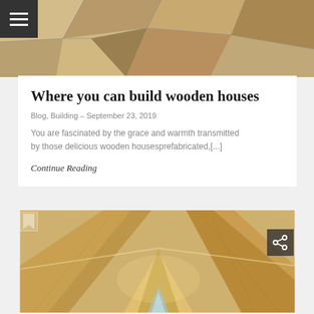[Figure (photo): Close-up photograph of natural stone tiles with earthy tones — beige, tan, rust patches — top portion of page]
Where you can build wooden houses
Blog, Building – September 23, 2019
You are fascinated by the grace and warmth transmitted by those delicious wooden housesprefabricated,[...]
Continue Reading
[Figure (photo): Interior close-up of wooden beam joinery showing chevron/angular timber corner joints, light birch wood color, bottom portion of page]